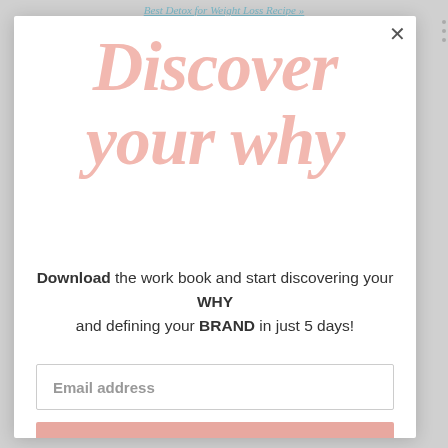Best Detox for Weight Loss Recipe »
Discover your why
Download the work book and start discovering your WHY and defining your BRAND in just 5 days!
Email address
Subscribe